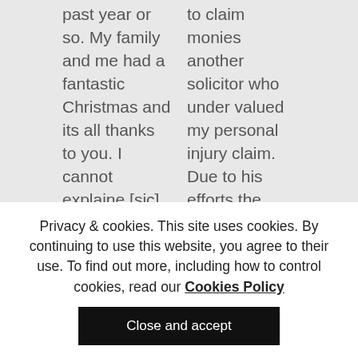past year or so. My family and me had a fantastic Christmas and its all thanks to you. I cannot explaine [sic] how happy I was to receive that money, not alot left but kids had a fantastic Christmas and my... Read more »
to claim monies another solicitor who under valued my personal injury claim. Due to his efforts the value of my claim was increased by 100%. I finally received the full amount due to Kevin's intervention. I was always fully informed on all
— Laura D
Privacy & cookies. This site uses cookies. By continuing to use this website, you agree to their use. To find out more, including how to control cookies, read our Cookies Policy
Close and accept